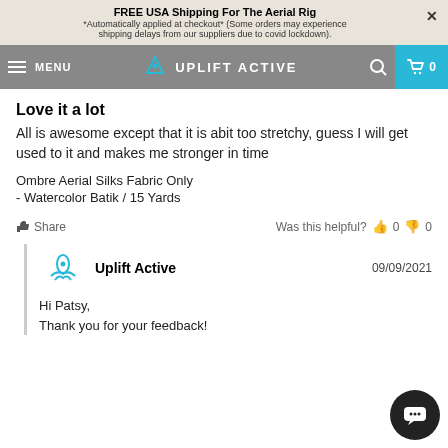FREE USA Shipping For The Aerial Rig
*Automatically applied at checkout* (Some orders may experience shipping delays from our suppliers due to covid lockdown).
MENU | UPLIFT ACTIVE | 0
Love it a lot
All is awesome except that it is abit too stretchy, guess I will get used to it and makes me stronger in time
Ombre Aerial Silks Fabric Only
- Watercolor Batik / 15 Yards
Share   Was this helpful?  👍 0  👎 0
Uplift Active   09/09/2021
Hi Patsy,
Thank you for your feedback!